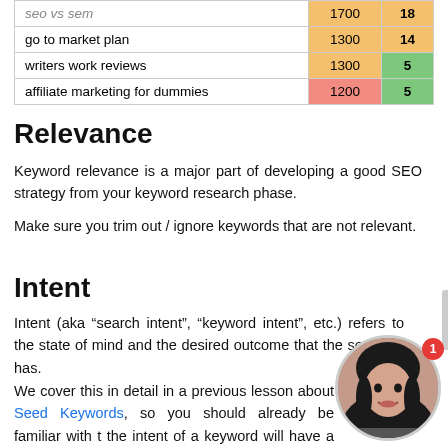|  | 1700 | 18 |
| --- | --- | --- |
| go to market plan | 1300 | 14 |
| writers work reviews | 1300 | 5 |
| affiliate marketing for dummies | 1200 | 5 |
Relevance
Keyword relevance is a major part of developing a good SEO strategy from your keyword research phase.
Make sure you trim out / ignore keywords that are not relevant.
Intent
Intent (aka “search intent”, “keyword intent”, etc.) refers to the state of mind and the desired outcome that the searcher has.
We cover this in detail in a previous lesson about Seed Keywords, so you should already be familiar with the intent of a keyword will have a huge impact on profitability / ROI you will get by ranking for that term.
[Figure (photo): A circular avatar photo of a smiling woman with dark hair, with a red notification badge showing the number 1]